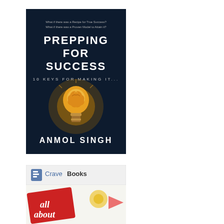[Figure (illustration): Book cover for 'Prepping for Success: 10 Keys for Making It...' by Anmol Singh. Dark navy background with a glowing lightbulb containing a brain image in the center. White text shows the title and subtitle. Author name at the bottom.]
[Figure (logo): Crave Books logo at top with text 'B Crave Books', below which is a promotional image showing a red tag with 'all about' text, a yellow flower, and an arrow on a white background.]